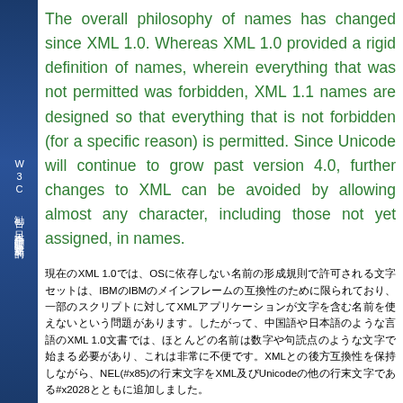W3C 勧告 日本語翻訳版(非規範的)
The overall philosophy of names has changed since XML 1.0. Whereas XML 1.0 provided a rigid definition of names, wherein everything that was not permitted was forbidden, XML 1.1 names are designed so that everything that is not forbidden (for a specific reason) is permitted. Since Unicode will continue to grow past version 4.0, further changes to XML can be avoided by allowing almost any character, including those not yet assigned, in names.
現在のXML 1.0では、OSに依存しない名前の形成規則で許可される文字セットは、IBMのIBMのメインフレームの互換性のために限られており、一部のスクリプトに対してXMLアプリケーションが文字を含む名前を使えないという問題があります。したがって、中国語や日本語のような言語のXML 1.0文書では、ほとんどの名前は数字や句読点のような文字で始まる必要があり、これは非常に不便です。XMLとの後方互換性を保持しながら、NEL(#x85)の行末文字をXML及びUnicodeの他の行末文字である#x2028とともに追加しました。
In addition, XML 1.0 attempts to adapt to the